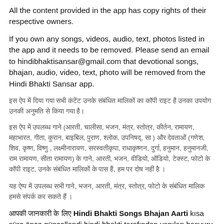All the content provided in the app has copy rights of their respective owners.
If you own any songs, videos, audio, text, photos listed in the app and it needs to be removed. Please send an email to hindibhaktisansar@gmail.com that devotional songs, bhajan, audio, video, text, photo will be removed from the Hindi Bhakti Sansar app.
[Hindi text: app में दिया गया सभी कंटेंट उनके संबंधित मालिकों के कॉपी राइट हैं उनका उपयोग उनकी अनुमति से किया गया है]
[Hindi text: इस ऐप में उपलब्ध गाने (आरती, चालीसा, भजन, मंत्र, स्तोत्र आदि) और देवताओं (गणेश, शिव, विष्णु, लक्ष्मी, सरस्वती, दुर्गा, हनुमान, राम, कृष्ण, रामायण, महाभारत) के गाने, आरती, वीडियो, ऑडियो, टेक्स्ट, फोटो आदि के कॉपीराइट उनके संबंधित मालिकों के पास हैं, हम पर दोष नहीं है ।]
[Hindi text: यह ऐप्प में उपलब्ध सभी गाने, भजन, आरती, मंत्र, स्तोत्र, फोटो के संबंधित मालिक हमसे संपर्क कर सकते हैं ।]
आपकी जानकारी के लिए Hindi Bhakti Songs Bhajan Aarti kısa süre önce güncellendi hindi bhakti tarafından yapılan başvuru